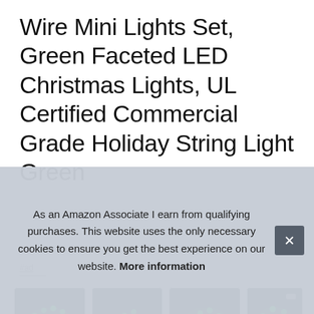Wire Mini Lights Set, Green Faceted LED Christmas Lights, UL Certified Commercial Grade Holiday String Light Green
#ad
[Figure (photo): Four thumbnail images of green LED Christmas light sets bundled together, shown against dark blue/teal backgrounds. Each bundle shows many green faceted LED lights on green wire.]
As an Amazon Associate I earn from qualifying purchases. This website uses the only necessary cookies to ensure you get the best experience on our website. More information
SWI... grad... exte...